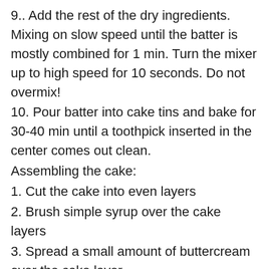9.. Add the rest of the dry ingredients. Mixing on slow speed until the batter is mostly combined for 1 min. Turn the mixer up to high speed for 10 seconds. Do not overmix!
10. Pour batter into cake tins and bake for 30-40 min until a toothpick inserted in the center comes out clean.
Assembling the cake:
1. Cut the cake into even layers
2. Brush simple syrup over the cake layers
3. Spread a small amount of buttercream over the cake layer
4. Cut up about 2 lavender shortbread cookies into centimetre cubes, and put a layer of the cookies into the buttercream.
5. Spread more buttercream over the cookies until there is a flat and even layer of filling